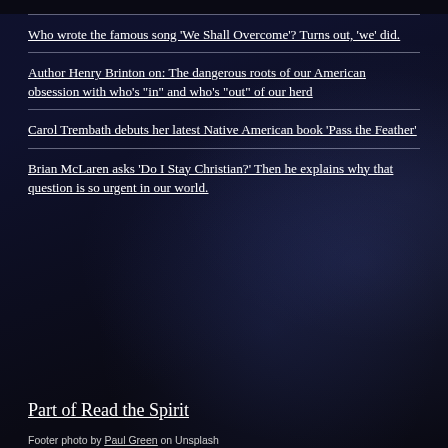Who wrote the famous song ‘We Shall Overcome’? Turns out, ‘we’ did.
Author Henry Brinton on: The dangerous roots of our American obsession with who’s “in” and who’s “out” of our herd
Carol Trembath debuts her latest Native American book ‘Pass the Feather’
Brian McLaren asks ‘Do I Stay Christian?’ Then he explains why that question is so urgent in our world.
Part of Read the Spirit
Footer photo by Paul Green on Unsplash